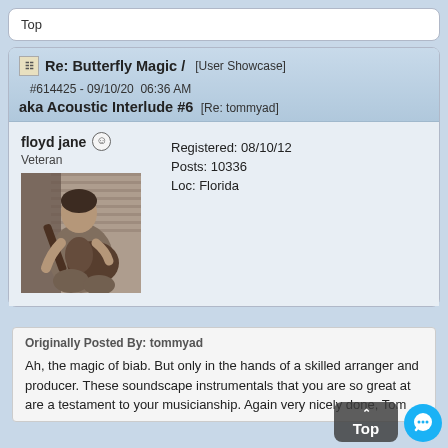Top
Re: Butterfly Magic / [User Showcase]  #614425 - 09/10/20  06:36 AM aka Acoustic Interlude #6 [Re: tommyad]
floyd jane
Veteran
Registered: 08/10/12
Posts: 10336
Loc: Florida
[Figure (photo): Black and white photo of a person playing acoustic guitar, seated]
Originally Posted By: tommyad
Ah, the magic of biab. But only in the hands of a skilled arranger and producer. These soundscape instrumentals that you are so great at are a testament to your musicianship. Again very nicely done, Tom